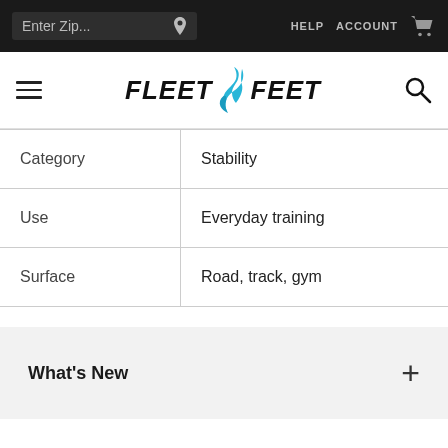Enter Zip... | HELP  ACCOUNT
[Figure (logo): Fleet Feet logo with blue flame icon]
|  |  |
| --- | --- |
| Category | Stability |
| Use | Everyday training |
| Surface | Road, track, gym |
What's New
Who It's Best For